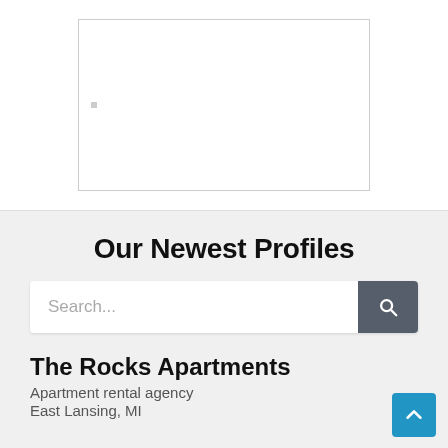[Figure (other): A white rectangular image placeholder box with a thin border, shown in the top white section of a web page screenshot.]
Our Newest Profiles
Search...
The Rocks Apartments
Apartment rental agency
East Lansing, MI